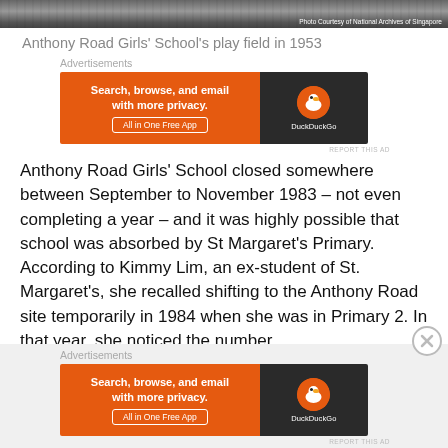[Figure (photo): Black and white photo strip of Anthony Road Girls' School play field, 1953. Photo credit reads 'Photo Courtesy of National Archives of Singapore' in bottom right corner.]
Anthony Road Girls' School's play field in 1953
[Figure (other): DuckDuckGo advertisement banner: 'Search, browse, and email with more privacy. All in One Free App' on orange background with DuckDuckGo logo on dark right panel. Label above: 'Advertisements'. Small 'REPORT THIS AD' text below.]
Anthony Road Girls' School closed somewhere between September to November 1983 – not even completing a year – and it was highly possible that school was absorbed by St Margaret's Primary. According to Kimmy Lim, an ex-student of St. Margaret's, she recalled shifting to the Anthony Road site temporarily in 1984 when she was in Primary 2. In that year, she noticed the number
[Figure (other): Second DuckDuckGo advertisement banner at bottom: 'Search, browse, and email with more privacy. All in One Free App' on orange background with DuckDuckGo logo on dark right panel. Label above: 'Advertisements'. Partially visible.]